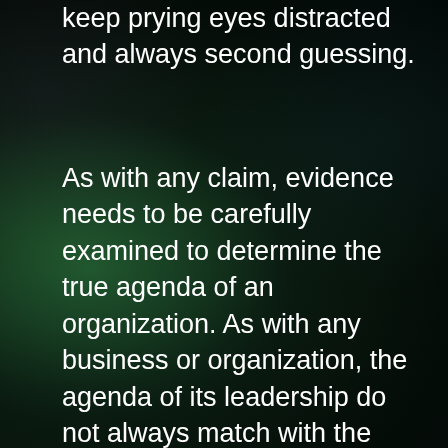keep prying eyes distracted and always second guessing.
As with any claim, evidence needs to be carefully examined to determine the true agenda of an organization. As with any business or organization, the agenda of its leadership do not always match with the ideas of its members or people, and often times we find that some places of business often extort its people for higher gain. This is why for those whom are involved in organizations that pose similar functions, it is critically important for its members to do their homework, and sometimes take the testimonies of former members seriously. Learn more about the organization you are a part of, and make the right decision in the